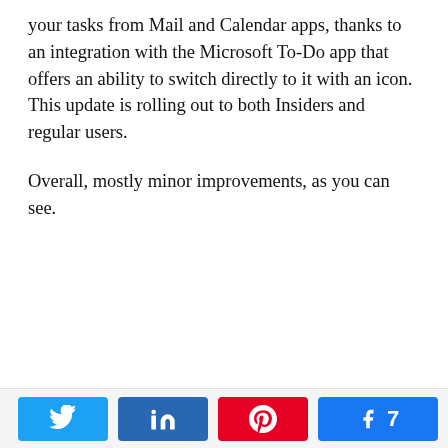your tasks from Mail and Calendar apps, thanks to an integration with the Microsoft To-Do app that offers an ability to switch directly to it with an icon. This update is rolling out to both Insiders and regular users.
Overall, mostly minor improvements, as you can see.
Social share buttons: Twitter, LinkedIn, Pinterest, Facebook (7 shares), Share (7 SHARES)